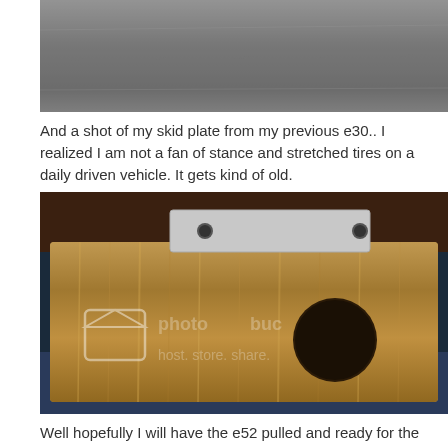[Figure (photo): Top portion of a photo showing a concrete/ground surface, cropped at top of page]
And a shot of my skid plate from my previous e30.. I realized I am not a fan of stance and stretched tires on a daily driven vehicle. It gets kind of old.
[Figure (photo): Photo of a metal skid plate with brushed/scratched surface and a circular hole, with a smaller bracket piece behind it. A Photobucket watermark overlay reads 'host. store. share.' The background shows blue metallic surfaces.]
Well hopefully I will have the e52 pulled and ready for the e34 pan by this